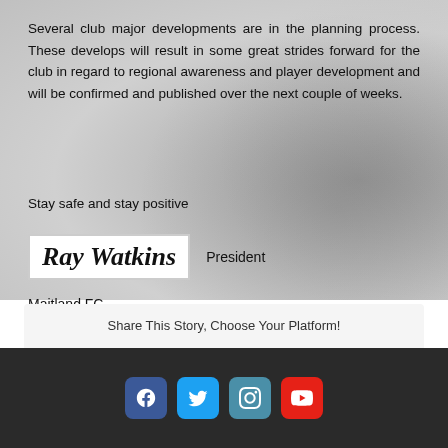Several club major developments are in the planning process. These develops will result in some great strides forward for the club in regard to regional awareness and player development and will be confirmed and published over the next couple of weeks.
Stay safe and stay positive
[Figure (other): Handwritten signature of Ray Watkins in cursive script inside a white box]
President
Maitland FC
Share This Story, Choose Your Platform!
[Figure (infographic): Row of social media sharing icons: Facebook, Twitter, Reddit, LinkedIn, WhatsApp, Tumblr, Pinterest, VK, Email]
[Figure (infographic): Footer social media buttons: Facebook (blue), Twitter (light blue), Instagram (teal), YouTube (red)]